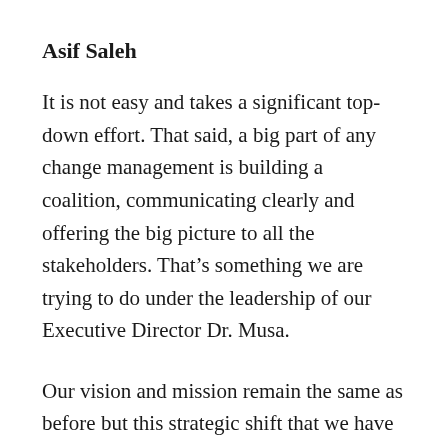Asif Saleh
It is not easy and takes a significant top-down effort. That said, a big part of any change management is building a coalition, communicating clearly and offering the big picture to all the stakeholders. That’s something we are trying to do under the leadership of our Executive Director Dr. Musa.
Our vision and mission remain the same as before but this strategic shift that we have